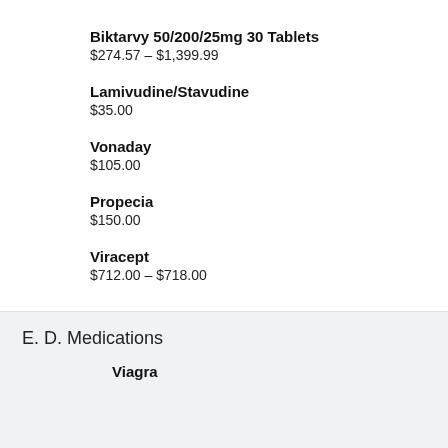Biktarvy 50/200/25mg 30 Tablets
$274.57 – $1,399.99
Lamivudine/Stavudine
$35.00
Vonaday
$105.00
Propecia
$150.00
Viracept
$712.00 – $718.00
E. D. Medications
Viagra